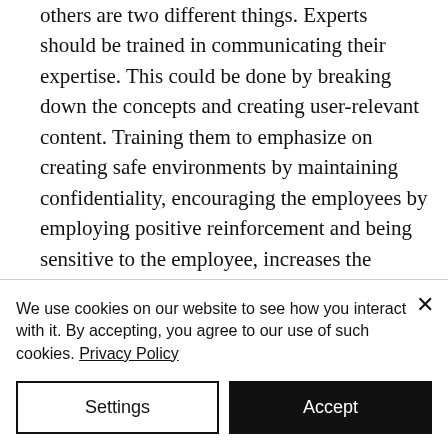others are two different things. Experts should be trained in communicating their expertise. This could be done by breaking down the concepts and creating user-relevant content. Training them to emphasize on creating safe environments by maintaining confidentiality, encouraging the employees by employing positive reinforcement and being sensitive to the employee, increases the quality of learning that takes place.
We use cookies on our website to see how you interact with it. By accepting, you agree to our use of such cookies. Privacy Policy